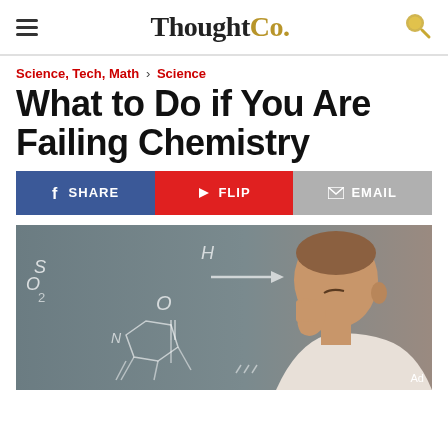ThoughtCo.
Science, Tech, Math › Science
What to Do if You Are Failing Chemistry
SHARE | FLIP | EMAIL
[Figure (photo): A stressed young man pressing his fingers to his nose in front of a chalkboard with chemistry formulas drawn in chalk]